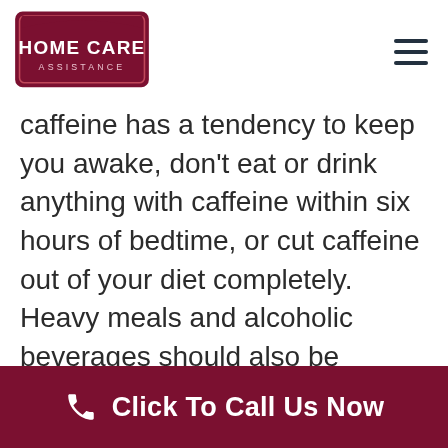[Figure (logo): Home Care Assistance logo — dark red shield/badge shape with white text HOME CARE ASSISTANCE]
caffeine has a tendency to keep you awake, don't eat or drink anything with caffeine within six hours of bedtime, or cut caffeine out of your diet completely. Heavy meals and alcoholic beverages should also be avoided prior to sleep. An exercise routine can also help the body have better quantity and quality of sleep
Click To Call Us Now